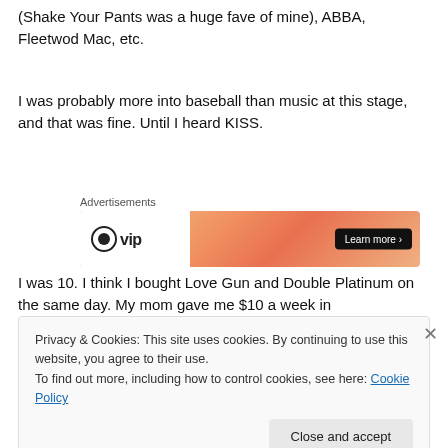(Shake Your Pants was a huge fave of mine), ABBA, Fleetwod Mac, etc.
I was probably more into baseball than music at this stage, and that was fine. Until I heard KISS.
[Figure (other): Advertisement banner showing a logo on the left and an orange gradient design on the right with a 'Learn more' button]
I was 10. I think I bought Love Gun and Double Platinum on the same day. My mom gave me $10 a week in
Privacy & Cookies: This site uses cookies. By continuing to use this website, you agree to their use.
To find out more, including how to control cookies, see here: Cookie Policy
Close and accept